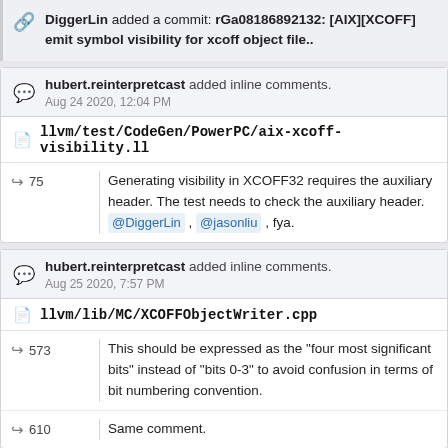DiggerLin added a commit: rGa08186892132: [AIX][XCOFF] emit symbol visibility for xcoff object file..
hubert.reinterpretcast added inline comments.
Aug 24 2020, 12:04 PM
llvm/test/CodeGen/PowerPC/aix-xcoff-visibility.ll
75
Generating visibility in XCOFF32 requires the auxiliary header. The test needs to check the auxiliary header. @DiggerLin , @jasonliu , fya.
hubert.reinterpretcast added inline comments.
Aug 25 2020, 7:57 PM
llvm/lib/MC/XCOFFObjectWriter.cpp
573
This should be expressed as the "four most significant bits" instead of "bits 0-3" to avoid confusion in terms of bit numbering convention.
610
Same comment.